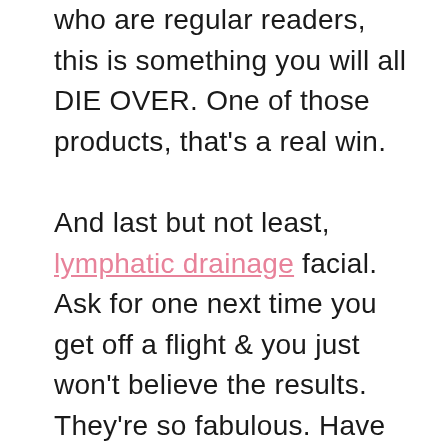who are regular readers, this is something you will all DIE OVER. One of those products, that's a real win.

And last but not least, lymphatic drainage facial. Ask for one next time you get off a flight & you just won't believe the results. They're so fabulous. Have the facialist go down your neck too. Full transparency: sometimes this requires a little explanation. You need to tell them you want a lympathic drainage facial that helps fight bloat because you've been traveling. Also let them know you're dehydrated because after a lot of travel you most likely are dried out. And lastly, tell